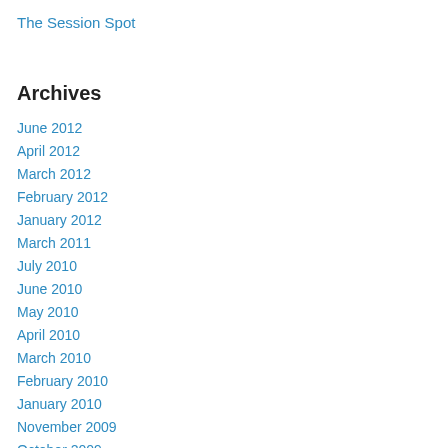The Session Spot
Archives
June 2012
April 2012
March 2012
February 2012
January 2012
March 2011
July 2010
June 2010
May 2010
April 2010
March 2010
February 2010
January 2010
November 2009
October 2009